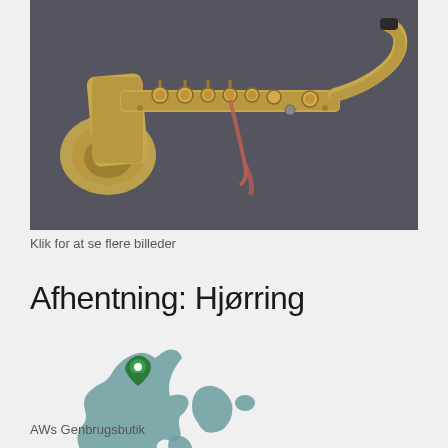[Figure (photo): A golden/brass saxophone lying horizontally on a dark grey background, with keys and a neck strap visible]
Klik for at se flere billeder
Afhentning: Hjørring
[Figure (map): Map of Denmark in teal/grey color with a green location pin marker placed in the northern Jutland region near Hjørring]
AWs Genbrugsbutik